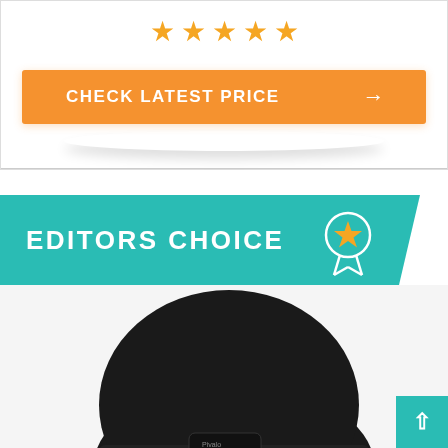[Figure (other): Five gold/yellow star rating icons displayed in a row]
[Figure (other): Orange 'CHECK LATEST PRICE' call-to-action button with right arrow]
[Figure (other): Teal 'EDITORS CHOICE' banner with badge/award icon on the right]
[Figure (photo): Black Bluetooth beanie hat with small control module showing blue LED buttons]
[Figure (other): Teal back-to-top button with upward arrow in bottom-right corner]